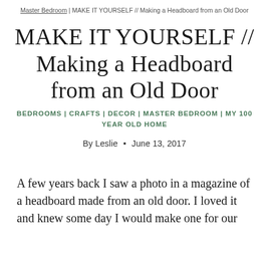Master Bedroom | MAKE IT YOURSELF // Making a Headboard from an Old Door
MAKE IT YOURSELF // Making a Headboard from an Old Door
BEDROOMS | CRAFTS | DECOR | MASTER BEDROOM | MY 100 YEAR OLD HOME
By Leslie • June 13, 2017
A few years back I saw a photo in a magazine of a headboard made from an old door. I loved it and knew some day I would make one for our